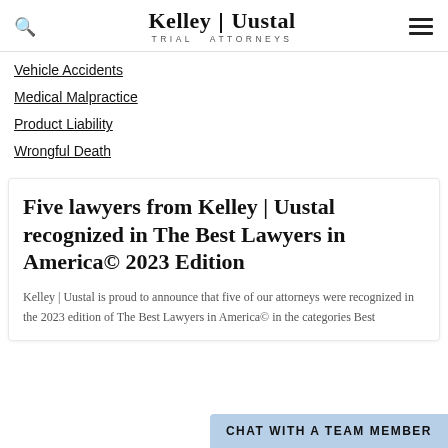Kelley | Uustal TRIAL ATTORNEYS
Vehicle Accidents
Medical Malpractice
Product Liability
Wrongful Death
Five lawyers from Kelley | Uustal recognized in The Best Lawyers in America© 2023 Edition
Kelley | Uustal is proud to announce that five of our attorneys were recognized in the 2023 edition of The Best Lawyers in America© in the categories Best